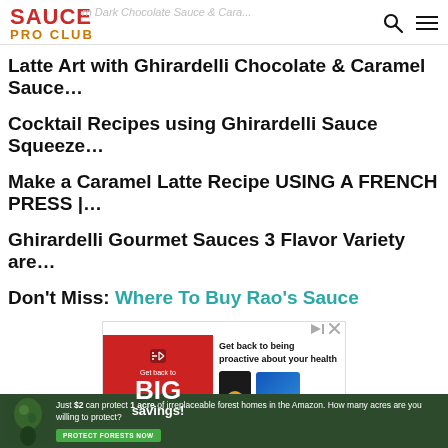SAUCE PRO CLUB
Latte Art with Ghirardelli Chocolate & Caramel Sauce…
Cocktail Recipes using Ghirardelli Sauce Squeeze…
Make a Caramel Latte Recipe USING A FRENCH PRESS |…
Ghirardelli Gourmet Sauces 3 Flavor Variety are…
Don't Miss:  Where To Buy Rao's Sauce
[Figure (screenshot): Advertisement banner showing 'Get back to BIG savings!' with red circle graphic on left, health supplement and toothpaste product images on right, play button in center, mute icon top left.]
[Figure (photo): Amazon rainforest conservation advertisement with wildlife photo, text: 'Just $2 can protect 1 acre of irreplaceable forest homes in the Amazon. How many acres are you willing to protect?' and green 'PROTECT FORESTS NOW' button.]